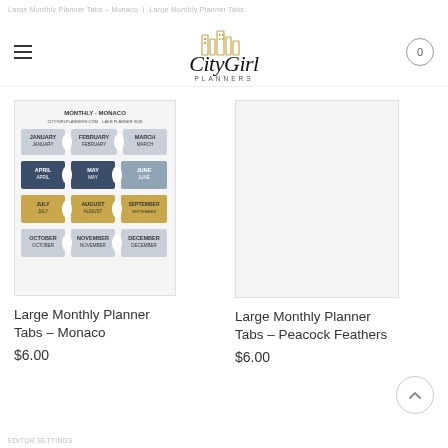Large Monthly Planner Tabs – Monaco | Large Monthly Planner Tabs
[Figure (logo): City Girl Planners logo with gold city skyline silhouette and cursive script text]
[Figure (photo): Monthly planner tabs product image for Monaco style, showing monthly tab labels for January through December in blue, dark navy, gold, and light grey colors]
Large Monthly Planner Tabs – Monaco
$6.00
Large Monthly Planner Tabs – Peacock Feathers
$6.00
EDITOR SETTINGS